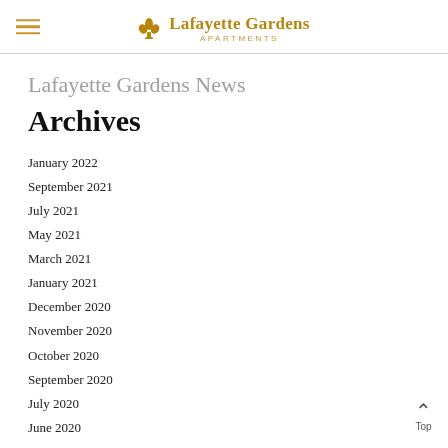Lafayette Gardens APARTMENTS
Lafayette Gardens News
Archives
January 2022
September 2021
July 2021
May 2021
March 2021
January 2021
December 2020
November 2020
October 2020
September 2020
July 2020
June 2020